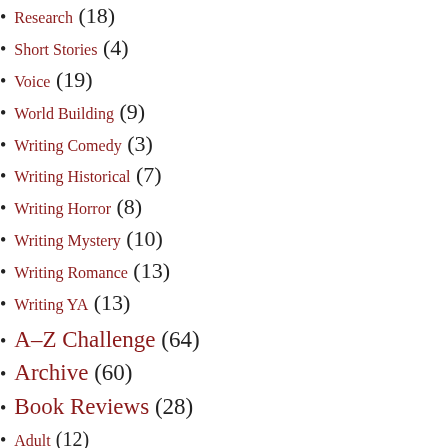Research (18)
Short Stories (4)
Voice (19)
World Building (9)
Writing Comedy (3)
Writing Historical (7)
Writing Horror (8)
Writing Mystery (10)
Writing Romance (13)
Writing YA (13)
A-Z Challenge (64)
Archive (60)
Book Reviews (28)
Adult (12)
Non-Fiction (3)
YA (14)
General Information (11)